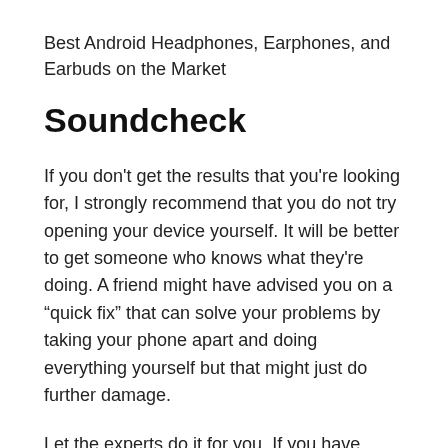Best Android Headphones, Earphones, and Earbuds on the Market
Soundcheck
If you don't get the results that you're looking for, I strongly recommend that you do not try opening your device yourself. It will be better to get someone who knows what they're doing. A friend might have advised you on a “quick fix” that can solve your problems by taking your phone apart and doing everything yourself but that might just do further damage.
Let the experts do it for you. If you have recently purchased your phone and it is still under warranty, make the most of it. Go to the nearest shop and have a professional handle the problem